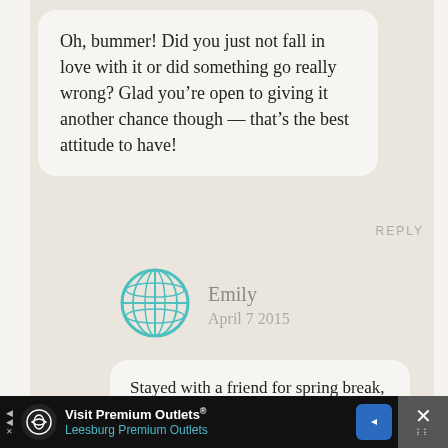Oh, bummer! Did you just not fall in love with it or did something go really wrong? Glad you’re open to giving it another chance though — that’s the best attitude to have!
REPLY
Emily
April 7 2015
Stayed with a friend for spring break, and my wallet was stolen the first night I was
Visit Premium Outlets® Leesburg Premium Outlets